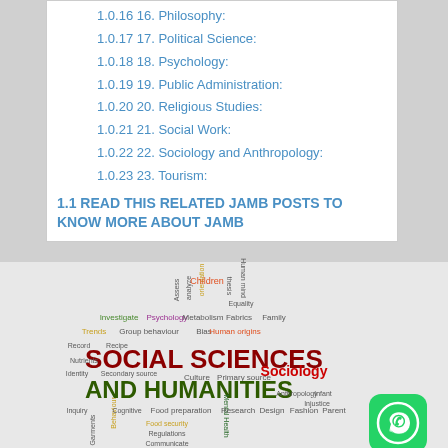1.0.16 16. Philosophy:
1.0.17 17. Political Science:
1.0.18 18. Psychology:
1.0.19 19. Public Administration:
1.0.20 20. Religious Studies:
1.0.21 21. Social Work:
1.0.22 22. Sociology and Anthropology:
1.0.23 23. Tourism:
1.1 READ THIS RELATED JAMB POSTS TO KNOW MORE ABOUT JAMB
[Figure (infographic): Word cloud image about Social Sciences and Humanities with various related terms in different colors and sizes, including 'SOCIAL SCIENCES' in dark red, 'AND HUMANITIES' in dark green, 'Sociology' in red, and various other academic terms.]